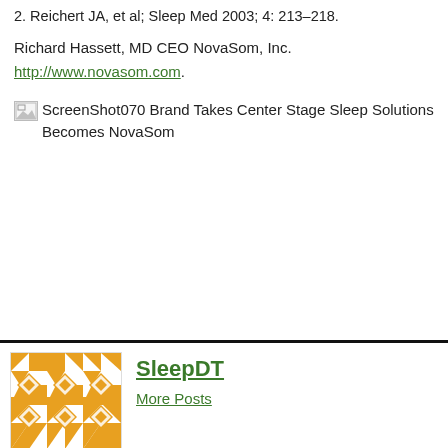2. Reichert JA, et al; Sleep Med 2003; 4: 213–218.
Richard Hassett, MD CEO NovaSom, Inc.
http://www.novasom.com.
[Figure (screenshot): Broken image icon followed by caption text: ScreenShot070 Brand Takes Center Stage Sleep Solutions Becomes NovaSom]
[Figure (illustration): Orange and white geometric pattern avatar/logo for SleepDT author]
SleepDT
More Posts